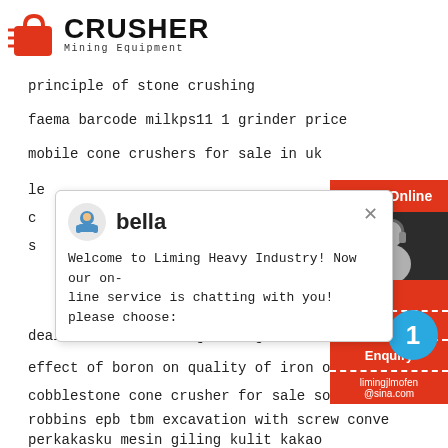[Figure (logo): Crusher Mining Equipment logo with red shopping bag icon and bold CRUSHER text]
principle of stone crushing
faema barcode milkps11 1 grinder price
mobile cone crushers for sale in uk
le
c
s
[Figure (screenshot): Chat popup from Liming Heavy Industry showing agent bella with welcome message]
dealers in terrazzo grinding machine in europe
effect of boron on quality of iron ore pellet
cobblestone cone crusher for sale south africa
robbins epb tbm excavation with screw conve
perkakasku mesin giling kulit kakao
titanium iron ore beneficiation processing
[Figure (infographic): Red sidebar panel with 24Hrs Online, Need & suggestions, Chat Now, Enquiry, limingjlmofen@sina.com, and blue circle with 1]